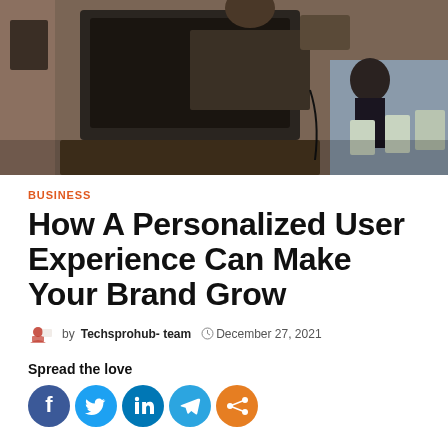[Figure (photo): Photo of a person holding a tablet or laptop in a cafe/restaurant setting with chairs and other people in background]
BUSINESS
How A Personalized User Experience Can Make Your Brand Grow
by Techsprohub- team   December 27, 2021
Spread the love